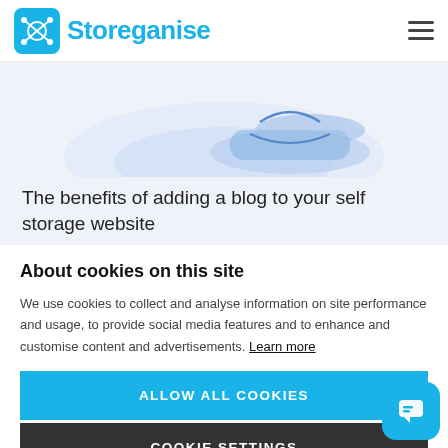Storeganise
[Figure (illustration): Partial illustration of a person at a desk or storage scene, light blue and purple tones, cropped at top of page]
The benefits of adding a blog to your self storage website
About cookies on this site
We use cookies to collect and analyse information on site performance and usage, to provide social media features and to enhance and customise content and advertisements. Learn more
ALLOW ALL COOKIES
COOKIE SETTINGS